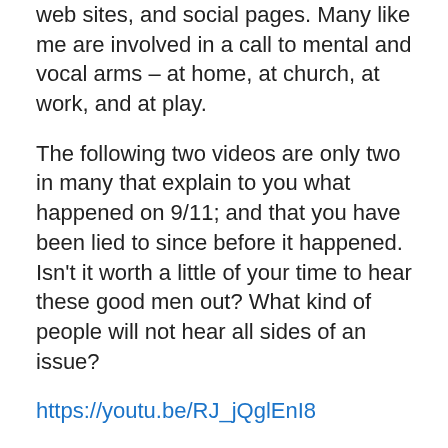web sites, and social pages. Many like me are involved in a call to mental and vocal arms – at home, at church, at work, and at play.
The following two videos are only two in many that explain to you what happened on 9/11; and that you have been lied to since before it happened. Isn't it worth a little of your time to hear these good men out? What kind of people will not hear all sides of an issue?
https://youtu.be/RJ_jQglEnI8
https://youtu.be/CT9-jLESHA8
Please do not be deceived . . .
Deuteronomy 11:16
Job 15:31
Luke 21:8